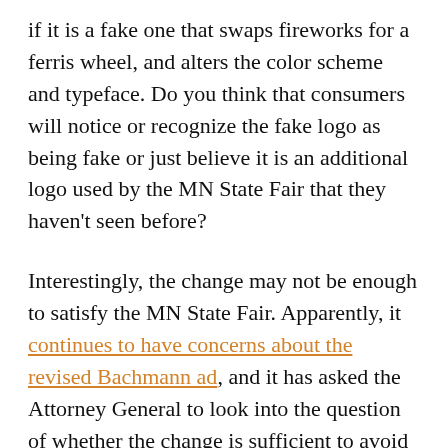if it is a fake one that swaps fireworks for a ferris wheel, and alters the color scheme and typeface. Do you think that consumers will notice or recognize the fake logo as being fake or just believe it is an additional logo used by the MN State Fair that they haven't seen before?
Interestingly, the change may not be enough to satisfy the MN State Fair. Apparently, it continues to have concerns about the revised Bachmann ad, and it has asked the Attorney General to look into the question of whether the change is sufficient to avoid confusion as to endorsement of the Bachmann campaign. Having said that, with only a few more days left before the close of the 2010 MN State Fair, one must wonder whether the campaign will move on and moot this lingering concern to closing the State Fair behind it.